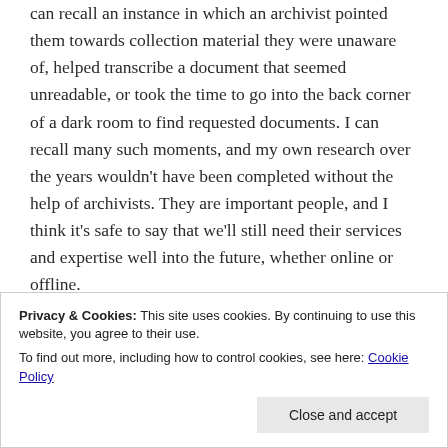can recall an instance in which an archivist pointed them towards collection material they were unaware of, helped transcribe a document that seemed unreadable, or took the time to go into the back corner of a dark room to find requested documents. I can recall many such moments, and my own research over the years wouldn't have been completed without the help of archivists. They are important people, and I think it's safe to say that we'll still need their services and expertise well into the future, whether online or offline.
Ch
Privacy & Cookies: This site uses cookies. By continuing to use this website, you agree to their use.
To find out more, including how to control cookies, see here: Cookie Policy
Close and accept